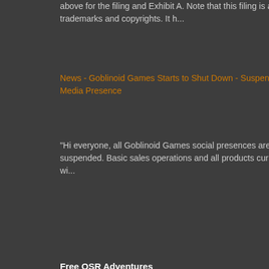above for the filing and Exhibit A. Note that this filing is about trademarks and copyrights. It h...
News - Goblinoid Games Starts to Shut Down - Suspends Social Media Presence
"Hi everyone, all Goblinoid Games social presences are hereby suspended. Basic sales operations and all products currently available wi...
Free OSR Adventures
10th Age
Assassins of Abu-Dala
BFRPG - Adventures Download Section
Blackmarsh
Challenge of the Frog Idol
Legend
Price is pe
Remember, I am just deliveri
Posted by Tenkar at 1:03 PM  3:
Labels: dungeon hobby shop mus
X5 Temple of Dea PDF at DTRPG
[Figure (photo): Dungeons & Dragons module cover image - red cover with D&D logo]